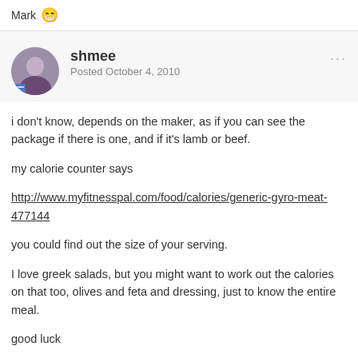Mark 😁
shmee
Posted October 4, 2010
i don't know, depends on the maker, as if you can see the package if there is one, and if it's lamb or beef.

my calorie counter says

http://www.myfitnesspal.com/food/calories/generic-gyro-meat-477144

you could find out the size of your serving.

I love greek salads, but you might want to work out the calories on that too, olives and feta and dressing, just to know the entire meal.

good luck